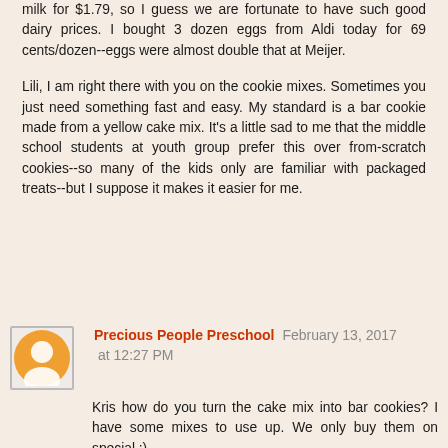milk for $1.79, so I guess we are fortunate to have such good dairy prices. I bought 3 dozen eggs from Aldi today for 69 cents/dozen--eggs were almost double that at Meijer.
Lili, I am right there with you on the cookie mixes. Sometimes you just need something fast and easy. My standard is a bar cookie made from a yellow cake mix. It's a little sad to me that the middle school students at youth group prefer this over from-scratch cookies--so many of the kids only are familiar with packaged treats--but I suppose it makes it easier for me.
Precious People Preschool February 13, 2017 at 12:27 PM
Kris how do you turn the cake mix into bar cookies? I have some mixes to use up. We only buy them on special.:)
Thanks,
Patti